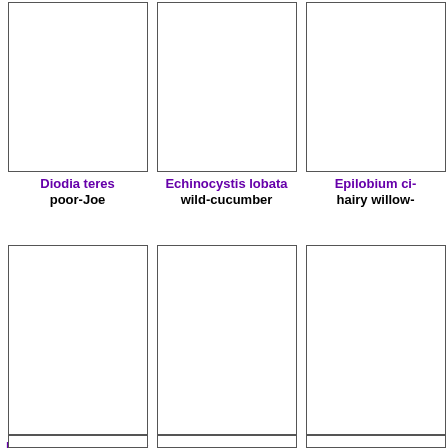[Figure (photo): Empty image box for Diodia teres]
Diodia teres
poor-Joe
[Figure (photo): Empty image box for Echinocystis lobata]
Echinocystis lobata
wild-cucumber
[Figure (photo): Empty image box for Epilobium ciliatum (partial)]
Epilobium ci...
hairy willow...
[Figure (photo): Empty image box for Erechtites hieracifolius var. hieracifolius]
Erechtites hieracifolius var. hieracifolius
fireweed
[Figure (photo): Empty image box for Erigeron strigosus]
Erigeron strigosus
rough fleabane
[Figure (photo): Empty image box for Eriocaulon aquaticum (partial)]
Eriocaulon aqu...
white butte...
[Figure (photo): Empty image box row 3 cell 1]
[Figure (photo): Empty image box row 3 cell 2]
[Figure (photo): Empty image box row 3 cell 3]